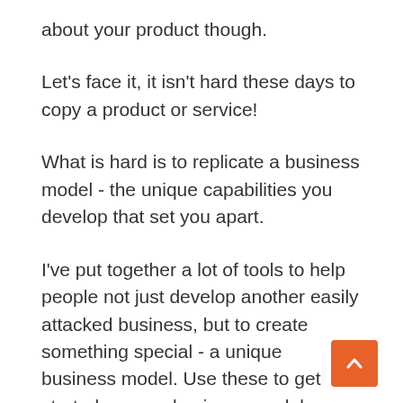about your product though.
Let's face it, it isn't hard these days to copy a product or service!
What is hard is to replicate a business model - the unique capabilities you develop that set you apart.
I've put together a lot of tools to help people not just develop another easily attacked business, but to create something special - a unique business model. Use these to get started on your business model journey: